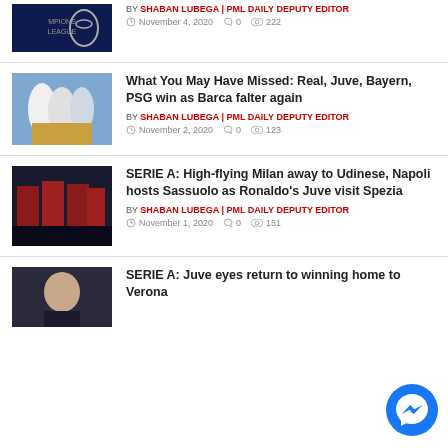[Figure (photo): Champions League trophy photo thumbnail (partial, top)]
BY SHABAN LUBEGA | PML DAILY DEPUTY EDITOR
November 4, 2020  0  222
[Figure (photo): Football players in white jerseys on pitch]
What You May Have Missed: Real, Juve, Bayern, PSG win as Barca falter again
BY SHABAN LUBEGA | PML DAILY DEPUTY EDITOR
November 2, 2020  0  123
[Figure (photo): AC Milan players in red-black jerseys celebrating]
SERIE A: High-flying Milan away to Udinese, Napoli hosts Sassuolo as Ronaldo's Juve visit Spezia
BY SHABAN LUBEGA | PML DAILY DEPUTY EDITOR
November 1, 2020  0  151
[Figure (photo): Footballer portrait photo thumbnail]
SERIE A: Juve eyes return to winning home to Verona